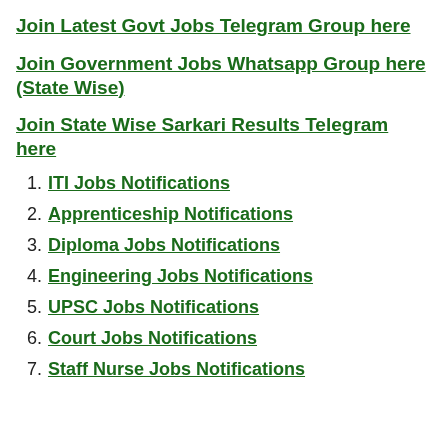Join Latest Govt Jobs Telegram Group here
Join Government Jobs Whatsapp Group here (State Wise)
Join State Wise Sarkari Results Telegram here
1. ITI Jobs Notifications
2. Apprenticeship Notifications
3. Diploma Jobs Notifications
4. Engineering Jobs Notifications
5. UPSC Jobs Notifications
6. Court Jobs Notifications
7. Staff Nurse Jobs Notifications